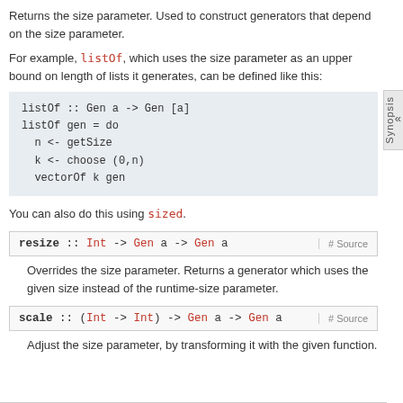Returns the size parameter. Used to construct generators that depend on the size parameter.
For example, listOf, which uses the size parameter as an upper bound on length of lists it generates, can be defined like this:
You can also do this using sized.
resize :: Int -> Gen a -> Gen a
Overrides the size parameter. Returns a generator which uses the given size instead of the runtime-size parameter.
scale :: (Int -> Int) -> Gen a -> Gen a
Adjust the size parameter, by transforming it with the given function.